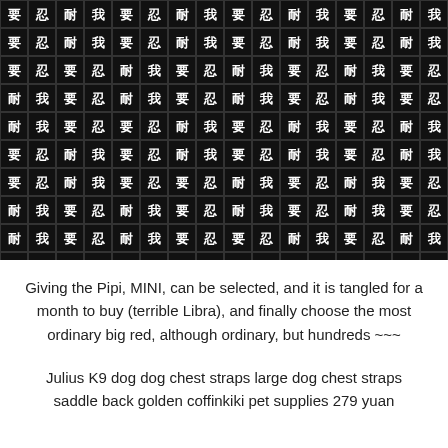[Figure (photo): A dog (Corgi) lying on a wooden floor with a blue bowl and white cup/bowl nearby. The image is overlaid with repeating Chinese characters forming a text pattern. The characters read '我要忍耐' (I need to be patient) repeated across the entire image in white bold text on dark blocks.]
Giving the Pipi, MINI, can be selected, and it is tangled for a month to buy (terrible Libra), and finally choose the most ordinary big red, although ordinary, but hundreds ~~~
Julius K9 dog dog chest straps large dog chest straps saddle back golden coffinkiki pet supplies 279 yuan